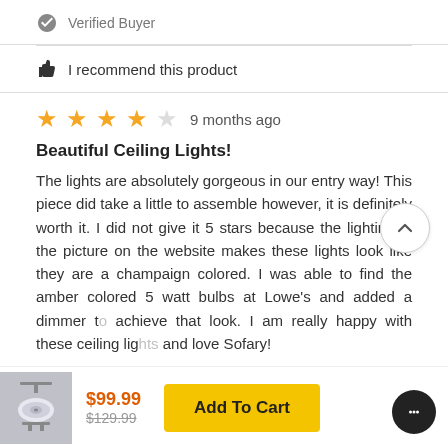Verified Buyer
I recommend this product
★★★★☆ 9 months ago
Beautiful Ceiling Lights!
The lights are absolutely gorgeous in our entry way! This piece did take a little to assemble however, it is definitely worth it. I did not give it 5 stars because the lighting in the picture on the website makes these lights look like they are a champaign colored. I was able to find the amber colored 5 watt bulbs at Lowe's and added a dimmer to achieve that look. I am really happy with these ceiling lights and love Sofary!
$99.99  $129.99  Add To Cart